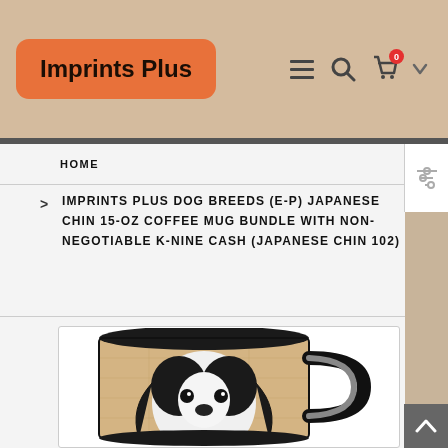[Figure (logo): Imprints Plus logo — orange rounded rectangle with bold text 'Imprints Plus']
Navigation icons: hamburger menu, search, shopping cart (badge: 0), dropdown chevron
HOME
> IMPRINTS PLUS DOG BREEDS (E-P) JAPANESE CHIN 15-OZ COFFEE MUG BUNDLE WITH NON-NEGOTIABLE K-NINE CASH (JAPANESE CHIN 102)
[Figure (photo): Black 15-oz coffee mug with a photo of a Japanese Chin dog (black and white) on a tan/map-style background, showing the mug from a slight angle with the handle visible on the right.]